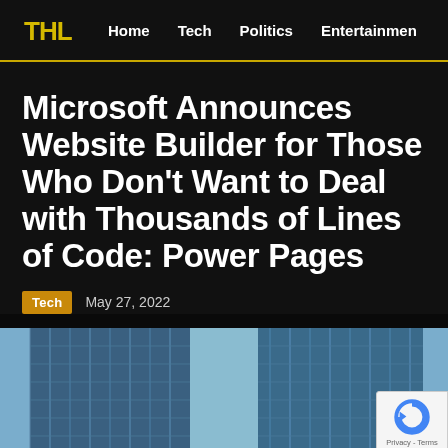THL  Home  Tech  Politics  Entertainmen
Microsoft Announces Website Builder for Those Who Don’t Want to Deal with Thousands of Lines of Code: Power Pages
Tech  May 27, 2022
[Figure (photo): Upward view of two tall glass skyscrapers against a blue sky]